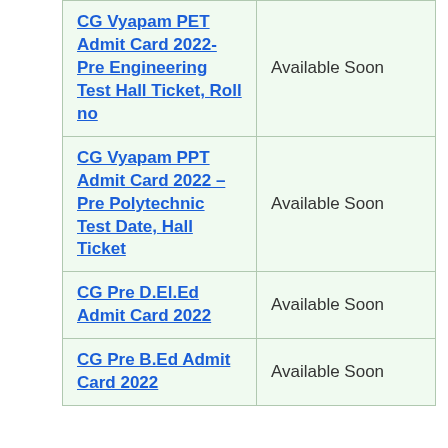| Exam | Status |
| --- | --- |
| CG Vyapam PET Admit Card 2022- Pre Engineering Test Hall Ticket, Roll no | Available Soon |
| CG Vyapam PPT Admit Card 2022 – Pre Polytechnic Test Date, Hall Ticket | Available Soon |
| CG Pre D.El.Ed Admit Card 2022 | Available Soon |
| CG Pre B.Ed Admit Card 2022 | Available Soon |